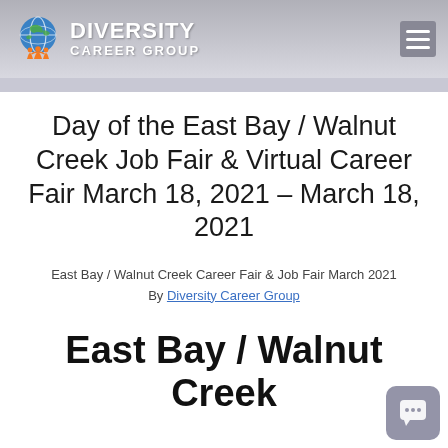DIVERSITY CAREER GROUP
Day of the East Bay / Walnut Creek Job Fair & Virtual Career Fair March 18, 2021 – March 18, 2021
East Bay / Walnut Creek Career Fair & Job Fair March 2021
By Diversity Career Group
East Bay / Walnut Creek Career Fair & Virtual Job